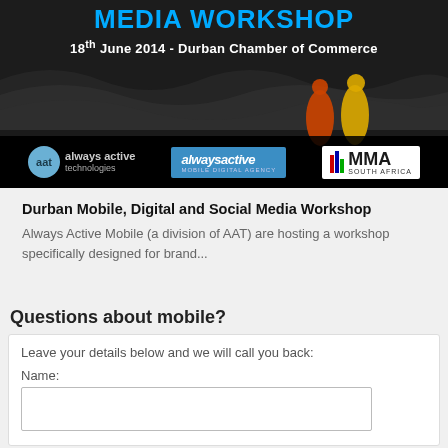[Figure (illustration): Banner image for Durban Mobile, Digital and Social Media Workshop showing MEDIA WORKSHOP title in blue, date 18th June 2014 - Durban Chamber of Commerce, ocean/beach background with two people running, and three sponsor logos: aat always active technologies, alwaysactive mobile digital agency, MMA South Africa]
Durban Mobile, Digital and Social Media Workshop
Always Active Mobile (a division of AAT) are hosting a workshop specifically designed for brand...
Questions about mobile?
Leave your details below and we will call you back:
Name: